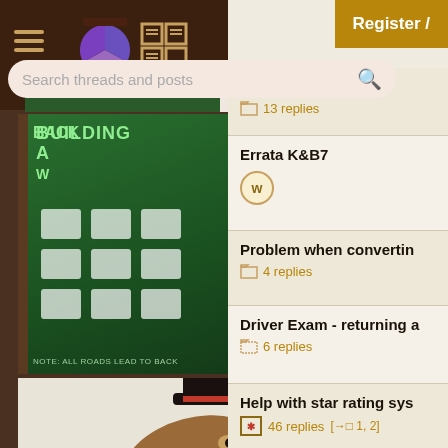[Figure (screenshot): Top navigation bar with hamburger menu, pie chart icon, and grid/table icon on dark brown background]
[Figure (screenshot): Search bar with placeholder text 'Search threads and posts' and search icon]
[Figure (illustration): Book cover: 'Building a Web Backbone' programming book with icons and author avatar]
[Figure (photo): T-Rex dinosaur wearing a top hat with text 'Meaningless Drivel' on white background]
[Figure (illustration): Code Ranch Book promotional image with old west style typography on dark brown background]
Register /
String
13 replies
Errata K&B7
Problem when convertin
4 replies
Driver Exam - returning a
6 replies
Help with star rating sys
46 replies
[→□ 1, 2]